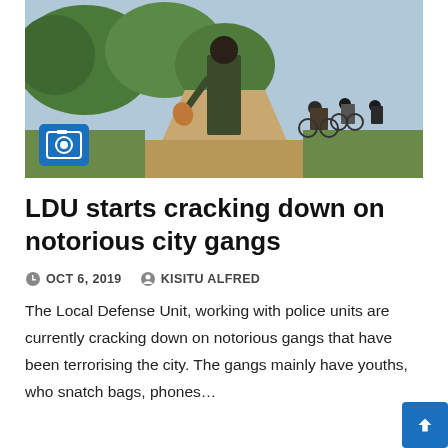[Figure (photo): A person walking on a dirt road carrying a chicken, with people on bicycles in the background. A blue camera icon badge is overlaid in the bottom-left of the image.]
LDU starts cracking down on notorious city gangs
OCT 6, 2019   KISITU ALFRED
The Local Defense Unit, working with police units are currently cracking down on notorious gangs that have been terrorising the city. The gangs mainly have youths, who snatch bags, phones…